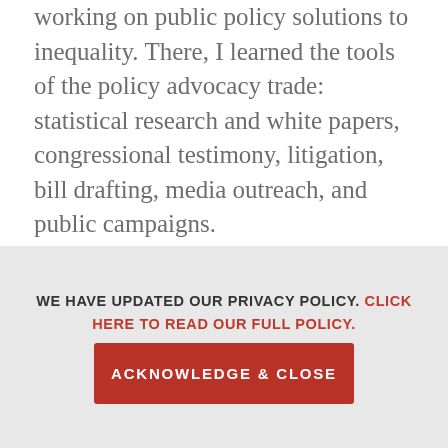working on public policy solutions to inequality. There, I learned the tools of the policy advocacy trade: statistical research and white papers, congressional testimony, litigation, bill drafting, media outreach, and public campaigns.
It was exhilarating. I couldn't believe that I could use a spreadsheet to convince journalists to write about the ideas and lives of the people I cared most about: the ones living from paycheck to paycheck who needed a better deal from businesses and our government. And it actually worked: our research influenced members of Congress to introduce laws that helped real people and led to businesses
WE HAVE UPDATED OUR PRIVACY POLICY. CLICK HERE TO READ OUR FULL POLICY.
ACKNOWLEDGE & CLOSE